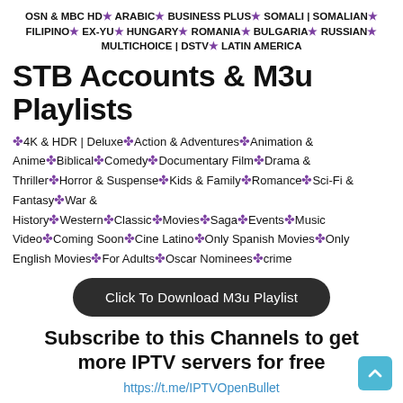OSN & MBC HD★ ARABIC★ BUSINESS PLUS★ SOMALI | SOMALIAN★ FILIPINO★ EX-YU★ HUNGARY★ ROMANIA★ BULGARIA★ RUSSIAN★ MULTICHOICE | DSTV★ LATIN AMERICA
STB Accounts & M3u Playlists
❖4K & HDR | Deluxe❖Action & Adventures❖Animation & Anime❖Biblical❖Comedy❖Documentary Film❖Drama & Thriller❖Horror & Suspense❖Kids & Family❖Romance❖Sci-Fi & Fantasy❖War & History❖Western❖Classic❖Movies❖Saga❖Events❖Music Video❖Coming Soon❖Cine Latino❖Only Spanish Movies❖Only English Movies❖For Adults❖Oscar Nominees❖crime
Click To Download M3u Playlist
Subscribe to this Channels to get more IPTV servers for free
https://t.me/IPTVOpenBullet